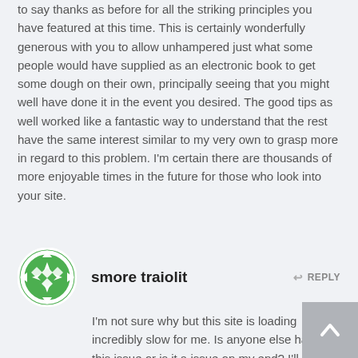to say thanks as before for all the striking principles you have featured at this time. This is certainly wonderfully generous with you to allow unhampered just what some people would have supplied as an electronic book to get some dough on their own, principally seeing that you might well have done it in the event you desired. The good tips as well worked like a fantastic way to understand that the rest have the same interest similar to my very own to grasp more in regard to this problem. I'm certain there are thousands of more enjoyable times in the future for those who look into your site.
[Figure (logo): Green circular logo with white arrow-recycling symbol and star/diamond pattern in center]
smore traiolit
REPLY
I'm not sure why but this site is loading incredibly slow for me. Is anyone else having this issue or is it a issue on my end? I'll check back later and see